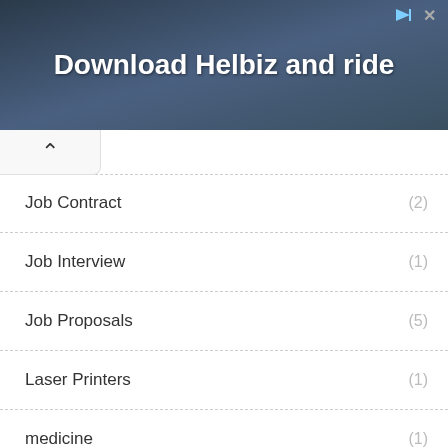[Figure (screenshot): Advertisement banner showing 'Download Helbiz and ride' text over a dark background image]
Job Contract (2)
Job Interview (1)
Job Proposals (5)
Laser Printers (1)
medicine (1)
Payoneer (1)
Recording (1)
Technology (1)